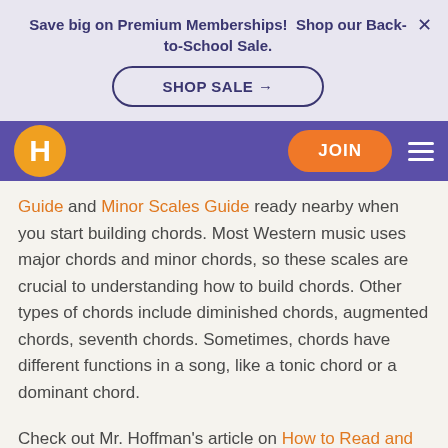Save big on Premium Memberships!  Shop our Back-to-School Sale.
SHOP SALE →
[Figure (logo): Hoffman Academy logo - orange circle with white H letter]
JOIN
Guide and Minor Scales Guide ready nearby when you start building chords. Most Western music uses major chords and minor chords, so these scales are crucial to understanding how to build chords. Other types of chords include diminished chords, augmented chords, seventh chords. Sometimes, chords have different functions in a song, like a tonic chord or a dominant chord.
Check out Mr. Hoffman's article on How to Read and Play Chords for the steps to teach yourself to play any type of chord! Give your new skills a try and learn how to play I, I